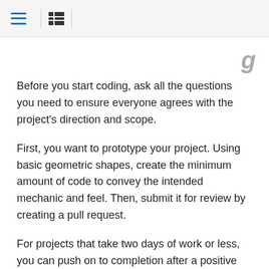[menu icon] [list icon]
Before you start coding, ask all the questions you need to ensure everyone agrees with the project's direction and scope.
First, you want to prototype your project. Using basic geometric shapes, create the minimum amount of code to convey the intended mechanic and feel. Then, submit it for review by creating a pull request.
For projects that take two days of work or less, you can push on to completion after a positive review of the prototype. There again, submit your code for a final code review.
For projects that take more than two days of work (12-16 hours coding), you should agree on milestones